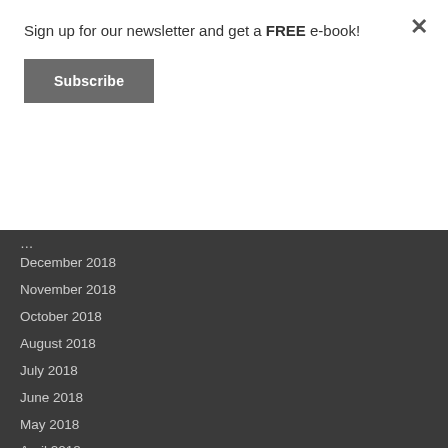Sign up for our newsletter and get a FREE e-book!
Subscribe
December 2018
November 2018
October 2018
August 2018
July 2018
June 2018
May 2018
April 2018
March 2018
February 2018
January 2018
December 2017
November 2017
October 2017
September 2017